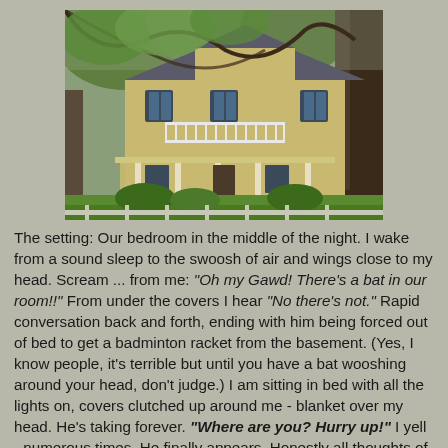[Figure (photo): Exterior photograph of a two-story yellow Victorian-style house with a white porch railing and balcony, surrounded by large trees with green foliage and a manicured lawn in the foreground, with a white fence visible at the bottom.]
The setting: Our bedroom in the middle of the night. I wake from a sound sleep to the swoosh of air and wings close to my head. Scream ... from me: "Oh my Gawd! There's a bat in our room!!" From under the covers I hear "No there's not." Rapid conversation back and forth, ending with him being forced out of bed to get a badminton racket from the basement. (Yes, I know people, it's terrible but until you have a bat wooshing around your head, don't judge.) I am sitting in bed with all the lights on, covers clutched up around me - blanket over my head. He's taking forever. "Where are you? Hurry up!" I yell - numerous times. He finally appears. Honestly all thoughts of the bat were gone. My fear changed to dismay and laughter... uproarious laughter. There he was...